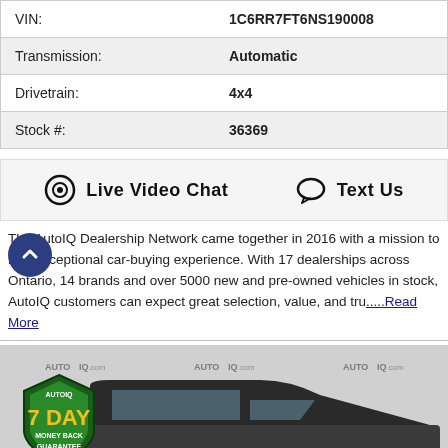| VIN: | 1C6RR7FT6NS190008 |
| Transmission: | Automatic |
| Drivetrain: | 4x4 |
| Stock #: | 36369 |
[Figure (other): Live Video Chat and Text Us buttons with icons in a shaded bar]
The AutoIQ Dealership Network came together in 2016 with a mission to r an exceptional car-buying experience. With 17 dealerships across Ontario, 14 brands and over 5000 new and pre-owned vehicles in stock, AutoIQ customers can expect great selection, value, and tru.....Read More
[Figure (photo): Photo of a dark-colored RAM pickup truck with AutoIQ.com watermarks and a 7 Day Money Back Guarantee badge overlay]